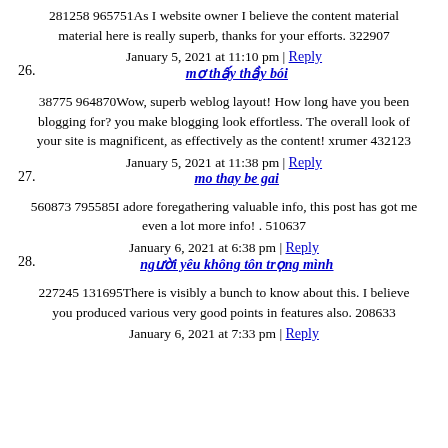281258 965751As I website owner I believe the content material material here is really superb, thanks for your efforts. 322907
January 5, 2021 at 11:10 pm | Reply
26. mơ thấy thầy bói
38775 964870Wow, superb weblog layout! How long have you been blogging for? you make blogging look effortless. The overall look of your site is magnificent, as effectively as the content! xrumer 432123
January 5, 2021 at 11:38 pm | Reply
27. mo thay be gai
560873 795585I adore foregathering valuable info, this post has got me even a lot more info! . 510637
January 6, 2021 at 6:38 pm | Reply
28. người yêu không tôn trọng mình
227245 131695There is visibly a bunch to know about this. I believe you produced various very good points in features also. 208633
January 6, 2021 at 7:22 pm | Reply